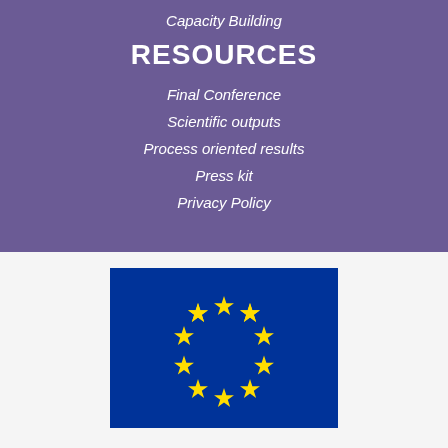Capacity Building
RESOURCES
Final Conference
Scientific outputs
Process oriented results
Press kit
Privacy Policy
[Figure (logo): European Union flag — blue background with a circle of 12 yellow stars]